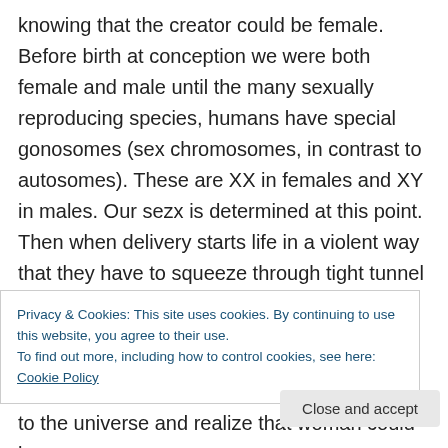knowing that the creator could be female. Before birth at conception we were both female and male until the many sexually reproducing species, humans have special gonosomes (sex chromosomes, in contrast to autosomes). These are XX in females and XY in males. Our sezx is determined at this point. Then when delivery starts life in a violent way that they have to squeeze through tight tunnel then slapped to breath already we start the male violent way of birth. Where women now have nonviolent water
Privacy & Cookies: This site uses cookies. By continuing to use this website, you agree to their use.
To find out more, including how to control cookies, see here: Cookie Policy
to the universe and realize that woman could be